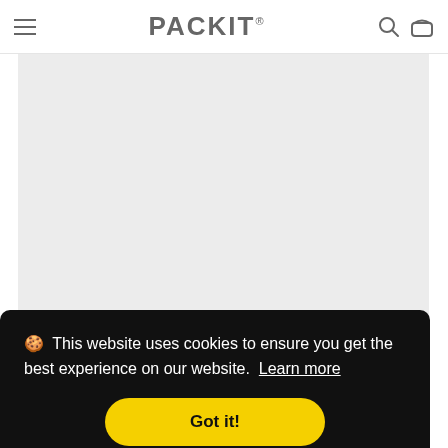PACKIT®
[Figure (photo): Product image area showing a light gray placeholder rectangle for a product photo]
Healthy Fruit Salad
🍪 This website uses cookies to ensure you get the best experience on our website. Learn more
Got it!